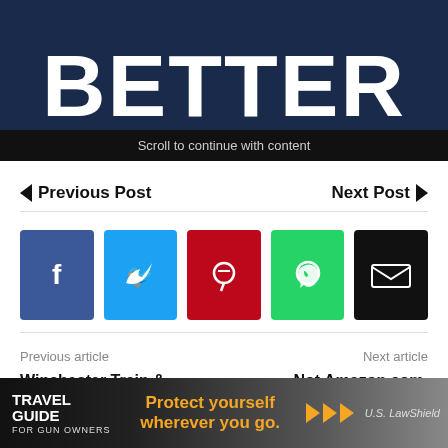[Figure (screenshot): Advertisement banner with large bold white text 'BETTER' on dark blue background with text 'Scroll to continue with content' on black bar]
◄ Previous Post    Next Post ►
[Figure (infographic): Social share buttons: Facebook (blue), Twitter (cyan), Pinterest (red), WhatsApp (green), Email (black)]
Previous article
Winchester Train & Defend Ammunition (The Shortest Ammo Review You'll Ever Read)
Next article
Not Amazon.com, Smile.Amazon.com
[Figure (advertisement): Travel Guide for Gun Owners ad banner - 'Protect yourself wherever you go.' with US LawShield branding]